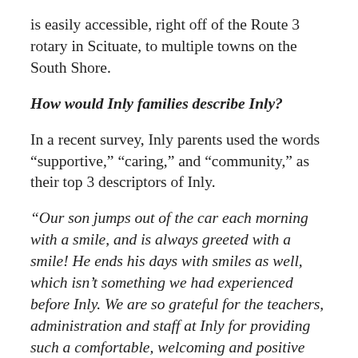is easily accessible, right off of the Route 3 rotary in Scituate, to multiple towns on the South Shore.
How would Inly families describe Inly?
In a recent survey, Inly parents used the words “supportive,” “caring,” and “community,” as their top 3 descriptors of Inly.
“Our son jumps out of the car each morning with a smile, and is always greeted with a smile! He ends his days with smiles as well, which isn’t something we had experienced before Inly. We are so grateful for the teachers, administration and staff at Inly for providing such a comfortable, welcoming and positive place for